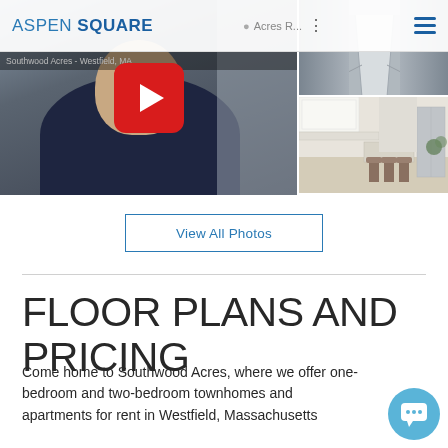ASPEN SQUARE | Southwood Acres R...
[Figure (screenshot): Website screenshot showing video thumbnail of a man in a navy polo shirt with a YouTube play button overlay, and two apartment interior photos on the right side]
View All Photos
FLOOR PLANS AND PRICING
Come home to Southwood Acres, where we offer one-bedroom and two-bedroom townhomes and apartments for rent in Westfield, Massachusetts